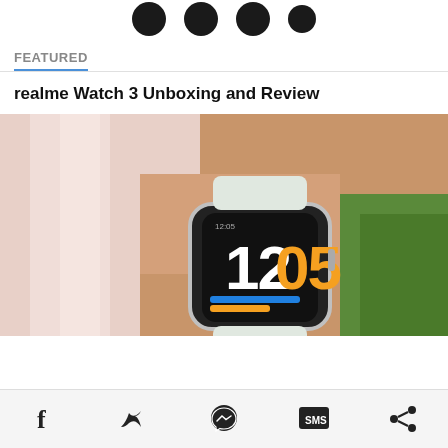[Figure (other): Row of black circular social/app icons at the top of the page]
FEATURED
realme Watch 3 Unboxing and Review
[Figure (photo): Photo of a person wearing a realme Watch 3 smartwatch on their wrist, showing the watch face with large numbers 12 and 05 in white and orange on a black background, outdoors with green grass visible]
[Figure (other): Bottom navigation/share bar with Facebook, Twitter, Messenger, SMS, and Share icons]